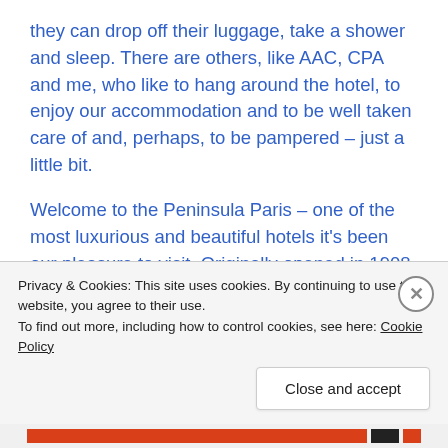they can drop off their luggage, take a shower and sleep. There are others, like AAC, CPA and me, who like to hang around the hotel, to enjoy our accommodation and to be well taken care of and, perhaps, to be pampered – just a little bit.
Welcome to the Peninsula Paris – one of the most luxurious and beautiful hotels it's been our pleasure to visit. Originally opened in 1908 as the Hotel Majestic and conveniently located on the Avenue Kléber within a 5-minute walk to the Arc de Triomphe, the building was built by the French...
Privacy & Cookies: This site uses cookies. By continuing to use this website, you agree to their use.
To find out more, including how to control cookies, see here: Cookie Policy